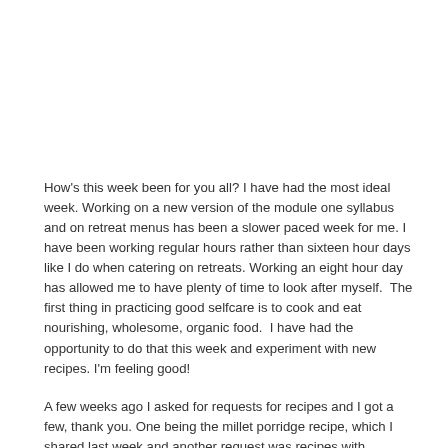How's this week been for you all? I have had the most ideal week. Working on a new version of the module one syllabus and on retreat menus has been a slower paced week for me. I have been working regular hours rather than sixteen hour days like I do when catering on retreats. Working an eight hour day has allowed me to have plenty of time to look after myself.  The first thing in practicing good selfcare is to cook and eat nourishing, wholesome, organic food.  I have had the opportunity to do that this week and experiment with new recipes. I'm feeling good!
A few weeks ago I asked for requests for recipes and I got a few, thank you. One being the millet porridge recipe, which I shared last week and another request was recipes with chickpeas. The